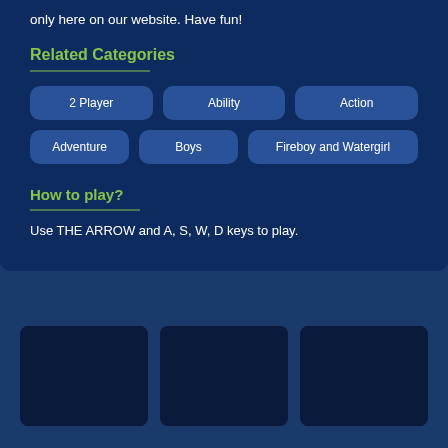only here on our website. Have fun!
Related Categories
2 Player
Ability
Action
Adventure
Boys
Fireboy and Watergirl
How to play?
Use THE ARROW and A, S, W, D keys to play.
[Figure (other): Three dark game card placeholders in a bottom section]